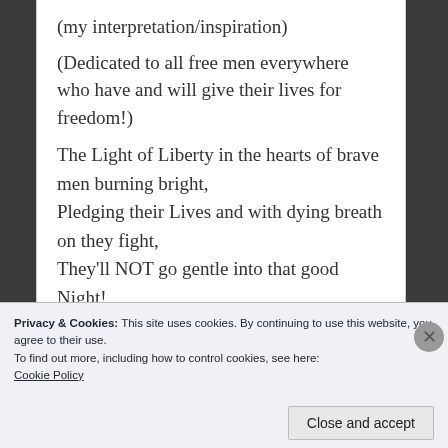(my interpretation/inspiration)
(Dedicated to all free men everywhere who have and will give their lives for freedom!)
The Light of Liberty in the hearts of brave men burning bright,
Pledging their Lives and with dying breath on they fight,
They'll NOT go gentle into that good Night!
Privacy & Cookies: This site uses cookies. By continuing to use this website, you agree to their use.
To find out more, including how to control cookies, see here:
Cookie Policy
Close and accept